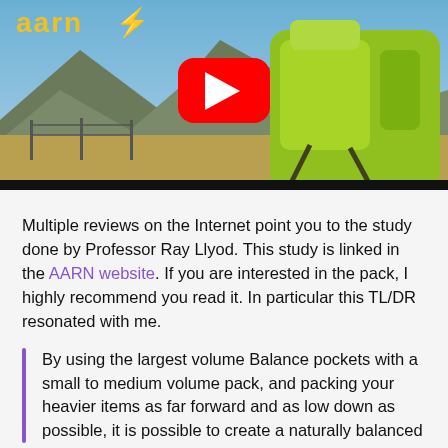[Figure (photo): Video thumbnail showing a yellow/green hiking backpack (AARN brand) in an outdoor mountain landscape, with a YouTube play button overlay and the AARN logo in the top left corner.]
Multiple reviews on the Internet point you to the study done by Professor Ray Llyod. This study is linked in the AARN website. If you are interested in the pack, I highly recommend you read it. In particular this TL/DR resonated with me.
By using the largest volume Balance pockets with a small to medium volume pack, and packing your heavier items as far forward and as low down as possible, it is possible to create a naturally balanced